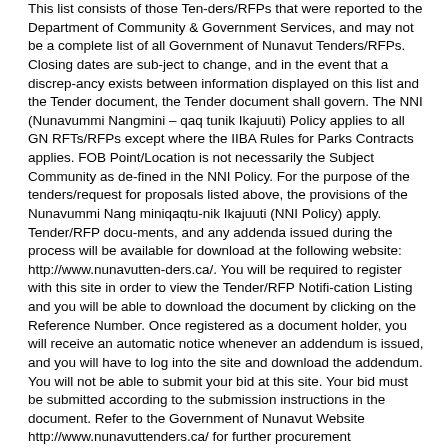This list consists of those Ten-ders/RFPs that were reported to the Department of Community & Government Services, and may not be a complete list of all Government of Nunavut Tenders/RFPs. Closing dates are sub-ject to change, and in the event that a discrep-ancy exists between information displayed on this list and the Tender document, the Tender document shall govern. The NNI (Nunavummi Nangmini – qaq tunik Ikajuuti) Policy applies to all GN RFTs/RFPs except where the IIBA Rules for Parks Contracts applies. FOB Point/Location is not necessarily the Subject Community as de-fined in the NNI Policy. For the purpose of the tenders/request for proposals listed above, the provisions of the Nunavummi Nang miniqaqtu-nik Ikajuuti (NNI Policy) apply. Tender/RFP docu-ments, and any addenda issued during the process will be available for download at the following website: http://www.nunavutten-ders.ca/. You will be required to register with this site in order to view the Tender/RFP Notifi-cation Listing and you will be able to download the document by clicking on the Reference Number. Once registered as a document holder, you will receive an automatic notice whenever an addendum is issued, and you will have to log into the site and download the addendum. You will not be able to submit your bid at this site. Your bid must be submitted according to the submission instructions in the document. Refer to the Government of Nunavut Website http://www.nunavuttenders.ca/ for further procurement opportunities.This procurement document can be made available, upon re-quest, in any of